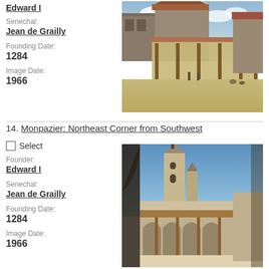Edward I
Senechal: Jean de Grailly
Founding Date: 1284
Image Date: 1966
[Figure (photo): Photograph of Monpazier market square showing wooden covered market structure with stone buildings, 1966]
14. Monpazier: Northeast Corner from Southwest
Select
Founder: Edward I
Senechal: Jean de Grailly
Founding Date: 1284
Image Date: 1966
[Figure (photo): Photograph of Monpazier northeast corner from southwest showing stone church tower and arched market hall, 1966]